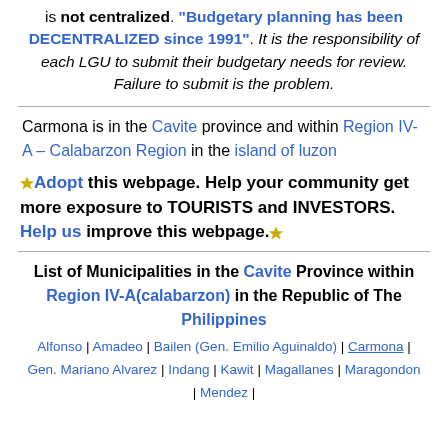is not centralized. "Budgetary planning has been DECENTRALIZED since 1991". It is the responsibility of each LGU to submit their budgetary needs for review. Failure to submit is the problem.
Carmona is in the Cavite province and within Region IV-A – Calabarzon Region in the island of luzon
★Adopt this webpage. Help your community get more exposure to TOURISTS and INVESTORS. Help us improve this webpage.★
List of Municipalities in the Cavite Province within Region IV-A(calabarzon) in the Republic of The Philippines
Alfonso | Amadeo | Bailen (Gen. Emilio Aguinaldo) | Carmona | Gen. Mariano Alvarez | Indang | Kawit | Magallanes | Maragondon | Mendez |